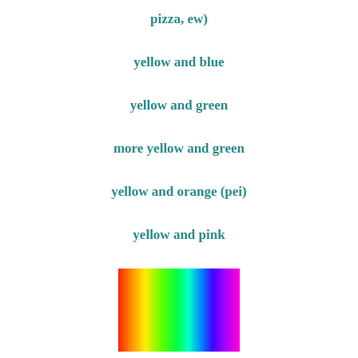pizza, ew)
yellow and blue
yellow and green
more yellow and green
yellow and orange (pei)
yellow and pink
[Figure (other): A rectangular color spectrum gradient showing colors transitioning from red/orange on the left through yellow, green, cyan, blue, and magenta/pink on the right.]